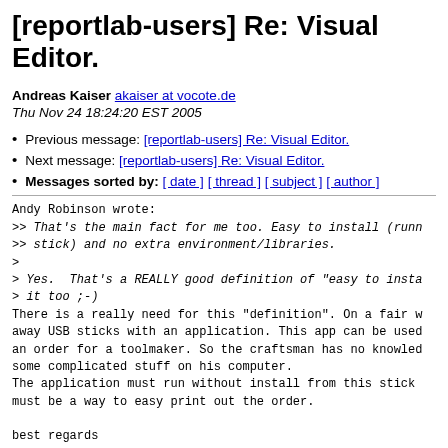[reportlab-users] Re: Visual Editor.
Andreas Kaiser akaiser at vocote.de
Thu Nov 24 18:24:20 EST 2005
Previous message: [reportlab-users] Re: Visual Editor.
Next message: [reportlab-users] Re: Visual Editor.
Messages sorted by: [ date ] [ thread ] [ subject ] [ author ]
Andy Robinson wrote:
>> That's the main fact for me too. Easy to install (runn
>> stick) and no extra environment/libraries.
>
> Yes.  That's a REALLY good definition of "easy to insta
> it too ;-)
There is a really need for this "definition". On a fair w
away USB sticks with an application. This app can be used
an order for a toolmaker. So the craftsman has no knowled
some complicated stuff on his computer.
The application must run without install from this stick
must be a way to easy print out the order.

best regards